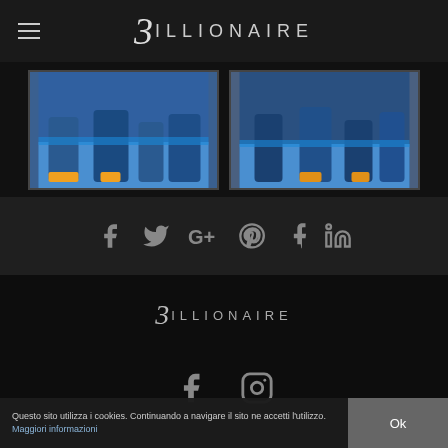3ILLIONAIRE
[Figure (photo): Two boxing/sports images showing legs of athletes on a blue ring mat with audience in background, side by side]
[Figure (infographic): Social share icons row: Facebook, Twitter, Google+, Pinterest, Tumblr, LinkedIn]
[Figure (logo): 3ILLIONAIRE logo in footer section]
[Figure (infographic): Footer social icons: Facebook, Instagram]
Questo sito utilizza i cookies. Continuando a navigare il sito ne accetti l'utilizzo. Maggiori informazioni